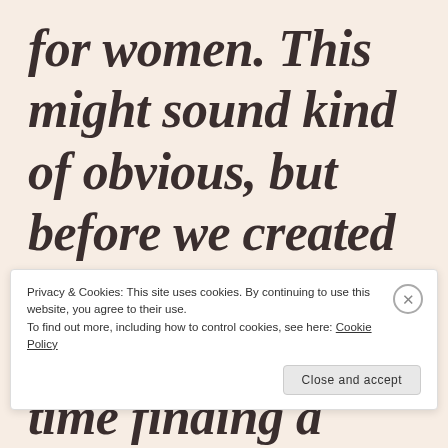for women. This might sound kind of obvious, but before we created Estrid it wasn't. We had a hard time finding a razor that was made for
Privacy & Cookies: This site uses cookies. By continuing to use this website, you agree to their use.
To find out more, including how to control cookies, see here: Cookie Policy